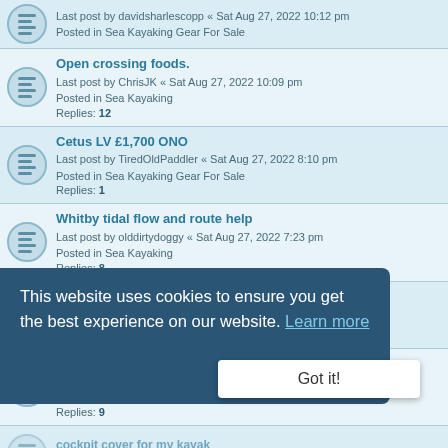Last post by davidsharlescopp « Sat Aug 27, 2022 10:12 pm
Posted in Sea Kayaking Gear For Sale
Open crossing foods.
Last post by ChrisJK « Sat Aug 27, 2022 10:09 pm
Posted in Sea Kayaking
Replies: 12
Cetus LV £1,700 ONO
Last post by TiredOldPaddler « Sat Aug 27, 2022 8:10 pm
Posted in Sea Kayaking Gear For Sale
Replies: 1
Whitby tidal flow and route help
Last post by olddirtydoggy « Sat Aug 27, 2022 7:23 pm
Posted in Sea Kayaking
Replies: 8
Womens Drysuit size L new. £150.
Last post by branwell « Sat Aug 27, 2022 4:55 pm
Posted in Sea Kayaking Gear For Sale
Kayak Identification Help Please!
Last post by pathbrae « Sat Aug 27, 2022 3:03 pm
Posted in Sea Kayaking
Replies: 9
cockpit cover for my kayak
Posted in Competition
Brand New Kayak kit - now sold
Last post by ... « Sat Aug 27, 2022 10:35 am
Posted in Sea Kayaking Gear For Sale
Replies: 2
Palm Thalassa ladies touring cag for sale.
Last post by Hollyman « Sat Aug 27, 2022 8:52 am
Posted in Sea Kayaking Gear For Sale
This website uses cookies to ensure you get the best experience on our website. Learn more
Got it!